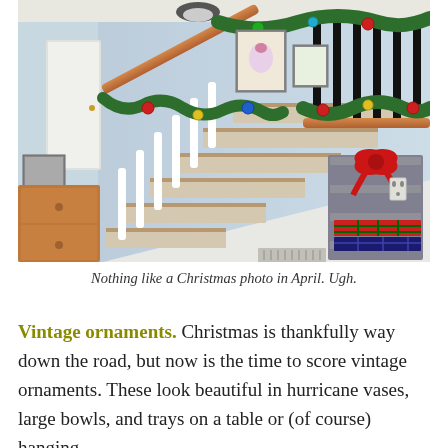[Figure (photo): Interior home staircase decorated for Christmas with green garland wrapped around white balusters and wooden handrail, colorful ornaments hanging from the garland, framed artwork on blue walls in background, a metal shelving unit with a red plaid bow and stacked blankets visible at bottom right, warm wooden furniture at bottom left.]
Nothing like a Christmas photo in April. Ugh.
Vintage ornaments. Christmas is thankfully way down the road, but now is the time to score vintage ornaments. These look beautiful in hurricane vases, large bowls, and trays on a table or (of course) hanging